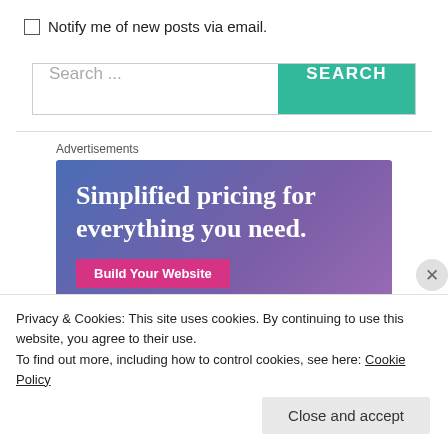Notify me of new posts via email.
[Figure (screenshot): Search bar with text input field showing 'Search ...' placeholder and a teal 'SEARCH' button on the right]
Advertisements
[Figure (advertisement): Advertisement banner with blue-purple gradient background showing text 'Simplified pricing for everything you need.' with a pink 'Build Your Website' button and a hand holding a key ring]
Privacy & Cookies: This site uses cookies. By continuing to use this website, you agree to their use.
To find out more, including how to control cookies, see here: Cookie Policy
Close and accept